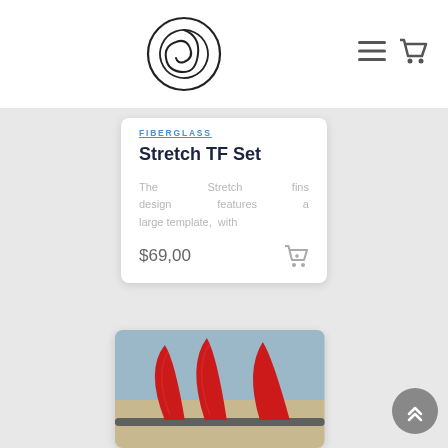[Figure (logo): Circular swirl logo in black outline]
[Figure (other): Hamburger menu icon and shopping cart icon in header]
FIBERGLASS
Stretch TF Set
The Stretch fins design features a large template, with
$69,00
[Figure (photo): Three red surfboard fins on sand with a surfboard]
[Figure (other): Gray circular scroll-to-top button with double up chevron]